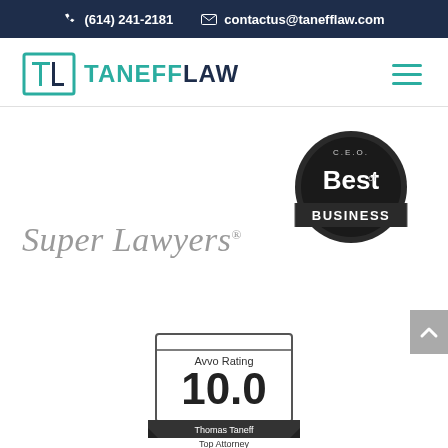(614) 241-2181  contactus@tanefflaw.com
[Figure (logo): Taneff Law logo with teal bracket TL symbol and dark navy TANEFFLAW wordmark]
Super Lawyers
[Figure (illustration): CEO Best of Business badge - dark circular seal with 'CEO Best of Business' text]
[Figure (illustration): Avvo Rating 10.0 badge for Thomas Taneff, Top Attorney]